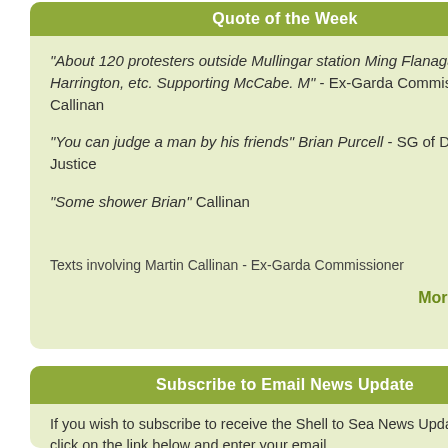Quote of the Week
"About 120 protesters outside Mullingar station Ming Flanagan, Maura Harrington, etc. Supporting McCabe. M" - Ex-Garda Commissioner Callinan
"You can judge a man by his friends" Brian Purcell - SG of Dept of Justice
"Some shower Brian" Callinan
Texts involving Martin Callinan - Ex-Garda Commissioner
More Quotes
Subscribe to Email News Update
If you wish to subscribe to receive the Shell to Sea News Updates then click on the link below and enter your email.